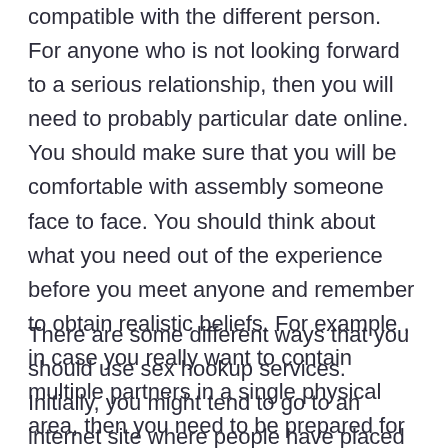compatible with the different person. For anyone who is not looking forward to a serious relationship, then you will need to probably particular date online. You should make sure that you will be comfortable with assembly someone face to face. You should think about what you need out of the experience before you meet anyone and remember to obtain realistic beliefs. For example , in case you really want to contain multiple partners in a single physical area, then you need to be prepared for this.
There are some different ways that you should use sex hookup services. Initially, you might tend to go to an internet site where people have placed ads for